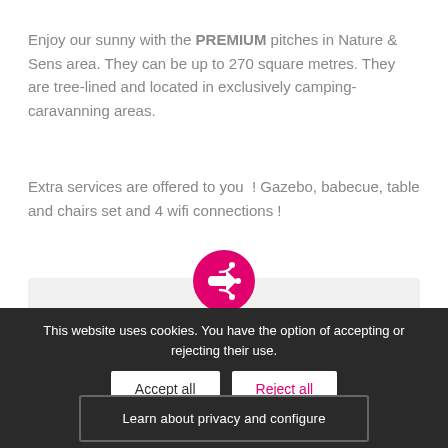Enjoy our sunny with the PREMIUM pitches in Nature & Sens area. They can be up to 270 square metres. They are tree-lined and located in exclusively camping-caravanning areas.
Extra services are offered to you ! Gazebo, babecue, table and chairs set and 4 wifi connections !
[Figure (other): Pink circular share/export button icon]
SEE THE PRICES
This website uses cookies. You have the option of accepting or rejecting their use.
Accept all
Reject all
Learn about privacy and configure